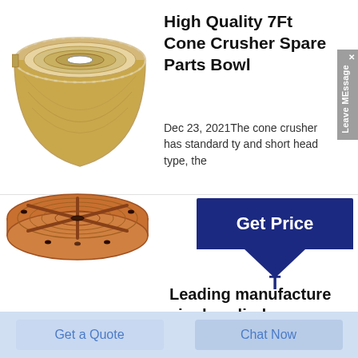[Figure (photo): Gold/silver metallic bowl-shaped cone crusher spare part, viewed from above, showing concentric rings]
High Quality 7Ft Cone Crusher Spare Parts Bowl
Dec 23, 2021The cone crusher has standard ty and short head type, the
[Figure (other): Get Price button with dark blue background and white text, with arrow/T symbol below]
[Figure (photo): Copper/bronze circular disc component for single cylinder hydraulic cone crusher, viewed from above, showing cross-bar pattern and circular grooves]
Leading manufacture single cylinder hydraulic cone crusher
Get a Quote
Chat Now